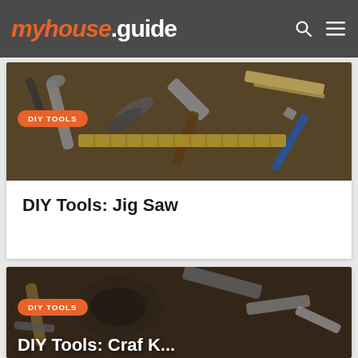myhouse.guide
[Figure (photo): Overhead view of assorted hand tools including pliers, hammers, wrenches, saws, and other DIY tools on a wooden surface, with an orange 'DIY TOOLS' badge overlay]
DIY Tools: Jig Saw
[Figure (photo): Partial overhead view of assorted hand tools on a dark wooden surface, with an orange 'DIY TOOLS' badge overlay and partial white title text at the bottom]